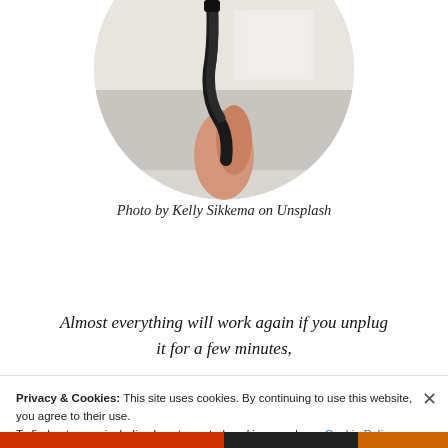[Figure (photo): Circular cropped photo of a hand holding a black cable or cord, kitchen tiles in background (photo by Kelly Sikkema on Unsplash)]
Photo by Kelly Sikkema on Unsplash
Almost everything will work again if you unplug it for a few minutes,
Privacy & Cookies: This site uses cookies. By continuing to use this website, you agree to their use.
To find out more, including how to control cookies, see here: Cookie Policy
Close and accept